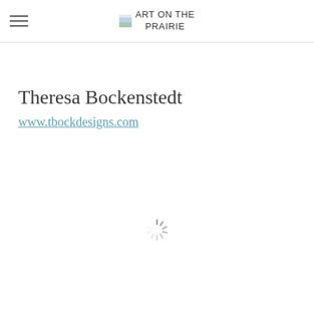ART ON THE PRAIRIE
Theresa Bockenstedt
www.tbockdesigns.com
[Figure (other): Loading spinner / activity indicator wheel with radial spokes]